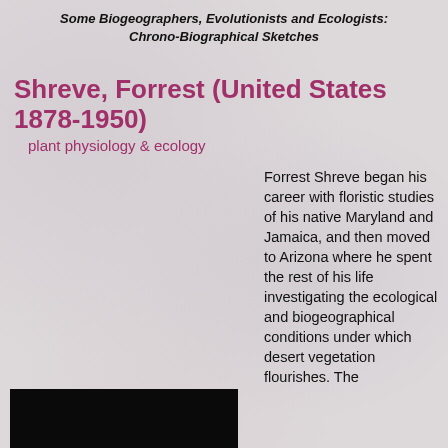Some Biogeographers, Evolutionists and Ecologists: Chrono-Biographical Sketches
Shreve, Forrest (United States 1878-1950)
plant physiology & ecology
Forrest Shreve began his career with floristic studies of his native Maryland and Jamaica, and then moved to Arizona where he spent the rest of his life investigating the ecological and biogeographical conditions under which desert vegetation flourishes. The
[Figure (photo): Black and white photograph of Forrest Shreve, partially visible at the bottom of the page]